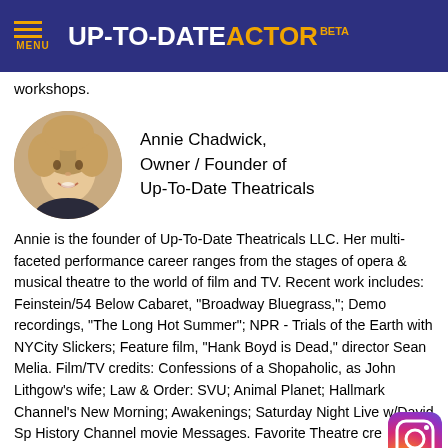MENU | UP-TO-DATE ACTOR BETA
workshops.
[Figure (photo): Circular headshot of Annie Chadwick, a woman with blonde curly hair, smiling]
Annie Chadwick, Owner / Founder of Up-To-Date Theatricals
Annie is the founder of Up-To-Date Theatricals LLC. Her multi-faceted performance career ranges from the stages of opera & musical theatre to the world of film and TV. Recent work includes: Feinstein/54 Below Cabaret, "Broadway Bluegrass,"; Demo recordings, "The Long Hot Summer"; NPR - Trials of the Earth with NYCity Slickers; Feature film, "Hank Boyd is Dead," director Sean Melia. Film/TV credits: Confessions of a Shopaholic, as John Lithgow's wife; Law & Order: SVU; Animal Planet; Hallmark Channel's New Morning; Awakenings; Saturday Night Live w/David Sp History Channel movie Messages. Favorite Theatre cre Jacques Brel: Life Dance; Honky Tonk Angel; Something's
[Figure (logo): Instagram logo icon in bottom right corner]